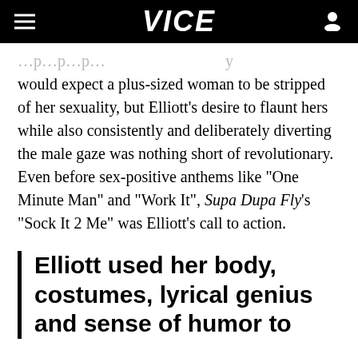VICE
would expect a plus-sized woman to be stripped of her sexuality, but Elliott's desire to flaunt hers while also consistently and deliberately diverting the male gaze was nothing short of revolutionary. Even before sex-positive anthems like "One Minute Man" and "Work It", Supa Dupa Fly's "Sock It 2 Me" was Elliott's call to action.
Elliott used her body, costumes, lyrical genius and sense of humor to